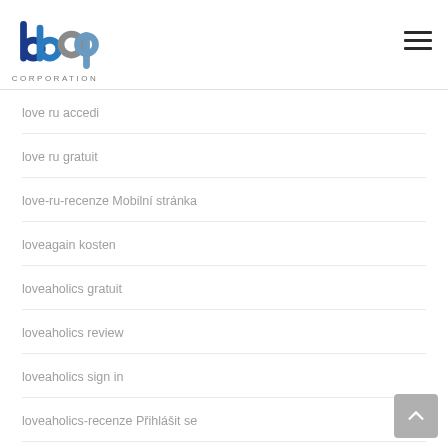[Figure (logo): BBO Corporation logo with blue and grey lettering and 'CORPORATION' text below]
love ru accedi
love ru gratuit
love-ru-recenze Mobilní stránka
loveagain kosten
loveaholics gratuit
loveaholics review
loveaholics sign in
loveaholics-recenze PЕ™ihláÅ¡it se
loveandseek come funziona
loveroulette-recenze PЕ™ihláÅ¡it se